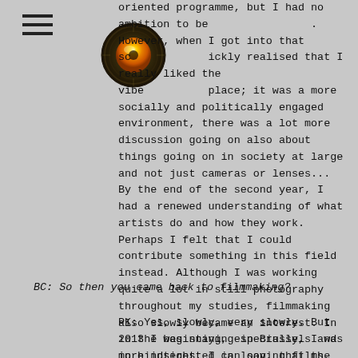[Figure (logo): A circular logo resembling an eye or planet with orange and yellow center and textured dark outer ring]
oriented programme, but I had no ambition to be [logo]. However, when I got into that sc[logo]ickly realised that I really liked the vibe of the place; it was a more socially and politically engaged environment, there was a lot more discussion going on also about things going on in society at large and not just cameras or lenses... By the end of the second year, I had a renewed understanding of what artists do and how they work. Perhaps I felt that I could contribute something in this field instead. Although I was working quite a lot in still photography throughout my studies, filmmaking also slowly became an interest. In 2013 I was staying in Brussels and in hindsight, I can say, that the exhibition Film as Sculpture that Elena Filipovic curated at WIELS was also major influence that drew me towards filmmaking, and especially 16mm film.
BC: So then you came back to filmmaking?
PK: Yes, slowly, very slowly. But in the beginning, especially, I was more interested in looping films, single shot films, and then placing them in the exhibition space, as opposed to the cinema setting. I tried to avoid